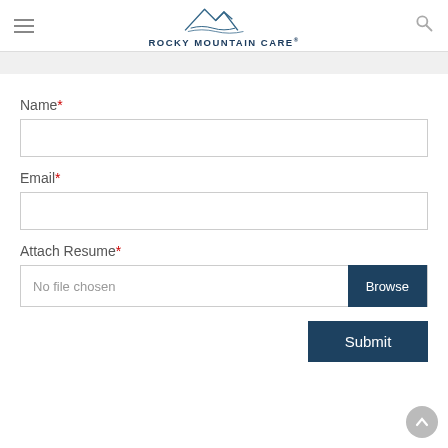Rocky Mountain Care
Name*
Email*
Attach Resume*
No file chosen | Browse
Submit